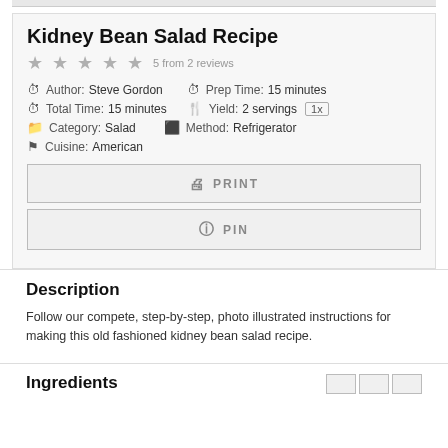Kidney Bean Salad Recipe
★ ★ ★ ★ ★  5 from 2 reviews
Author: Steve Gordon  Prep Time: 15 minutes
Total Time: 15 minutes  Yield: 2 servings [1x]
Category: Salad  Method: Refrigerator
Cuisine: American
PRINT
PIN
Description
Follow our compete, step-by-step, photo illustrated instructions for making this old fashioned kidney bean salad recipe.
Ingredients